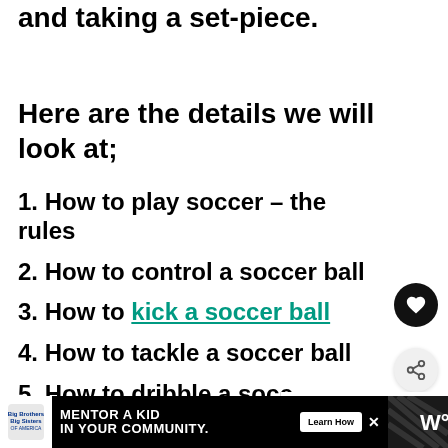and taking a set-piece.
Here are the details we will look at;
1. How to play soccer – the rules
2. How to control a soccer ball
3. How to kick a soccer ball
4. How to tackle a soccer ball
5. How to dribble a socc[er ball]
[Figure (screenshot): Advertisement banner: Big Brothers Big Sisters — MENTOR A KID IN YOUR COMMUNITY. Learn How button.]